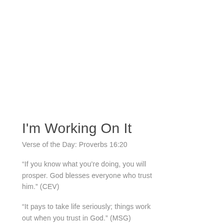I'm Working On It
Verse of the Day: Proverbs 16:20
“If you know what you’re doing, you will prosper. God blesses everyone who trust him.” (CEV)
“It pays to take life seriously; things work out when you trust in God.” (MSG)